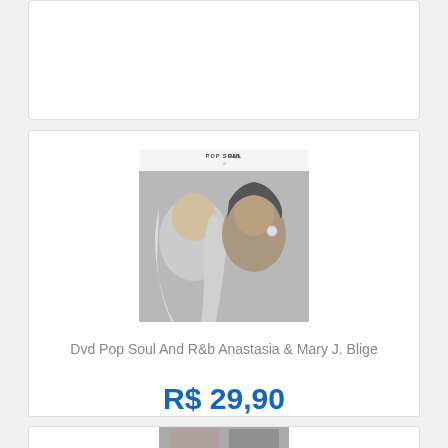[Figure (photo): Top partial product card (cut off at top of page)]
[Figure (photo): Album cover for 'Pop Soul And R&B' featuring Anastasia and Mary J. Blige - two women on the cover with a purple banner at bottom]
Dvd Pop Soul And R&b Anastasia & Mary J. Blige
R$ 29,90
[Figure (photo): Bottom partial product card showing beginning of another product image (cut off at bottom of page)]